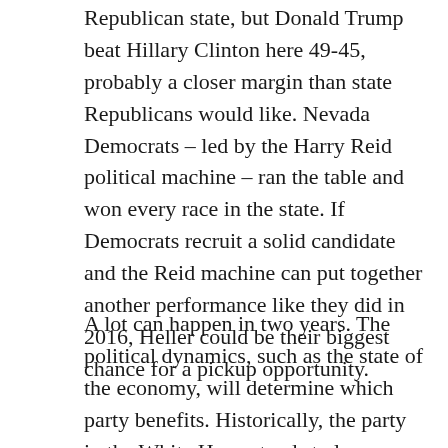Republican state, but Donald Trump beat Hillary Clinton here 49-45, probably a closer margin than state Republicans would like. Nevada Democrats – led by the Harry Reid political machine – ran the table and won every race in the state. If Democrats recruit a solid candidate and the Reid machine can put together another performance like they did in 2016, Heller could be their biggest chance for a pickup opportunity.
A lot can happen in two years. The political dynamics, such as the state of the economy, will determine which party benefits. Historically, the party in the White House tends to lose congressional seats during the midterm elections. Republicans...